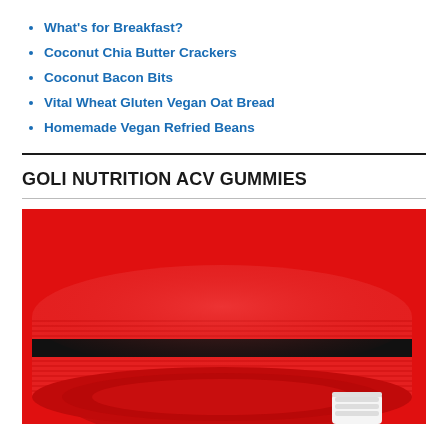What's for Breakfast?
Coconut Chia Butter Crackers
Coconut Bacon Bits
Vital Wheat Gluten Vegan Oat Bread
Homemade Vegan Refried Beans
GOLI NUTRITION ACV GUMMIES
[Figure (photo): A rolled red yoga/exercise mat with a white cap/bottle visible at the bottom right, on a red background.]